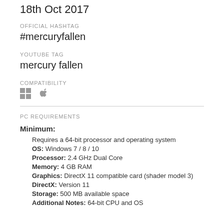18th Oct 2017
OFFICIAL HASHTAG
#mercuryfallen
YOUTUBE TAG
mercury fallen
COMPATIBILITY
[Figure (illustration): Windows and Apple platform compatibility icons]
PC REQUIREMENTS
Minimum:
Requires a 64-bit processor and operating system
OS: Windows 7 / 8 / 10
Processor: 2.4 GHz Dual Core
Memory: 4 GB RAM
Graphics: DirectX 11 compatible card (shader model 3)
DirectX: Version 11
Storage: 500 MB available space
Additional Notes: 64-bit CPU and OS